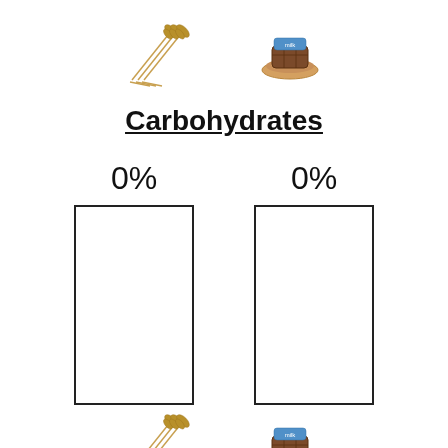[Figure (illustration): Food illustration - grain/wheat stalks, top left]
[Figure (illustration): Food illustration - chocolate/cocoa product in bowl, top right]
Carbohydrates
0%     0%
[Figure (bar-chart): Two empty bar chart boxes showing 0% carbohydrates for two food items]
[Figure (illustration): Food illustration - grain/wheat stalks, bottom left]
[Figure (illustration): Food illustration - chocolate/cocoa product in bowl, bottom right]